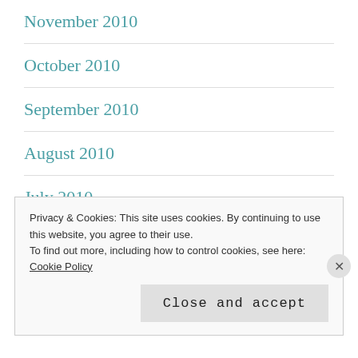November 2010
October 2010
September 2010
August 2010
July 2010
June 2010
May 2010
Privacy & Cookies: This site uses cookies. By continuing to use this website, you agree to their use.
To find out more, including how to control cookies, see here: Cookie Policy
Close and accept